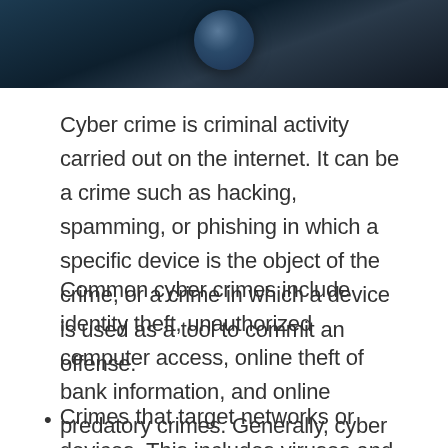[Figure (photo): Dark blue background image showing a digital/cyber themed visual, possibly hands or a sphere object against a dark background]
Cyber crime is criminal activity carried out on the internet. It can be a crime such as hacking, spamming, or phishing in which a specific device is the object of the crime, or a crime in which a device is used as a tool to commit an offense.
Common cyber crimes include identity theft, unauthorized computer access, online theft of bank information, and online predatory crimes. Generally, cyber crime can be broken down into two basic categories:
Crimes that target networks or devices. This includes viruses and DoS (denial-of-service) attacks